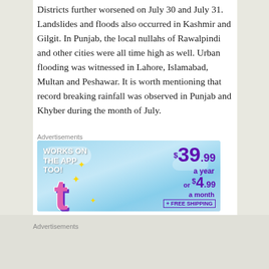Districts further worsened on July 30 and July 31. Landslides and floods also occurred in Kashmir and Gilgit. In Punjab, the local nullahs of Rawalpindi and other cities were all time high as well. Urban flooding was witnessed in Lahore, Islamabad, Multan and Peshawar. It is worth mentioning that record breaking rainfall was observed in Punjab and Khyber during the month of July.
Advertisements
[Figure (other): Advertisement banner: 'WORKS ON THE APP TOO!' with pricing $39.99 a year or $4.99 a month + FREE SHIPPING, featuring a Tumblr-style 't' logo with sparkles on a blue sky background.]
Advertisements